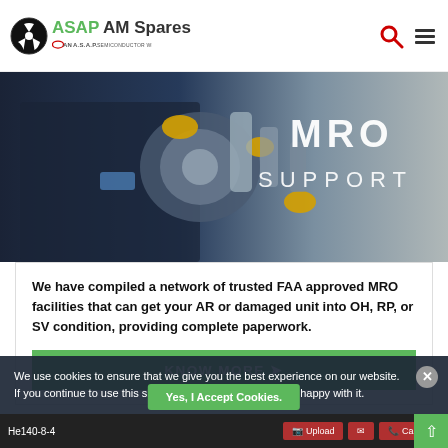[Figure (logo): ASAP AM Spares logo with radioactive symbol icon and 'AN A.S.A.P. SEMICONDUCTOR WEBSITE' subtitle]
[Figure (photo): MRO SUPPORT banner image showing a technician working on aircraft engine components with yellow and industrial machinery]
We have compiled a network of trusted FAA approved MRO facilities that can get your AR or damaged unit into OH, RP, or SV condition, providing complete paperwork.
KNOW MORE ❯
We use cookies to ensure that we give you the best experience on our website. If you continue to use this site we will assume that you are happy with it.
Yes, I Accept Cookies.
He140-8-4